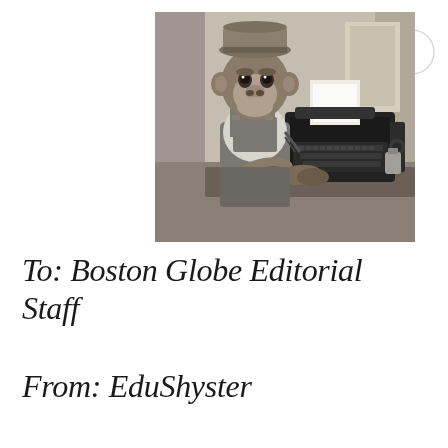[Figure (photo): Black and white photograph of a chimpanzee dressed in overalls and a hat, sitting at a typewriter in an office setting, looking at the camera]
To: Boston Globe Editorial Staff
From: EduShyster